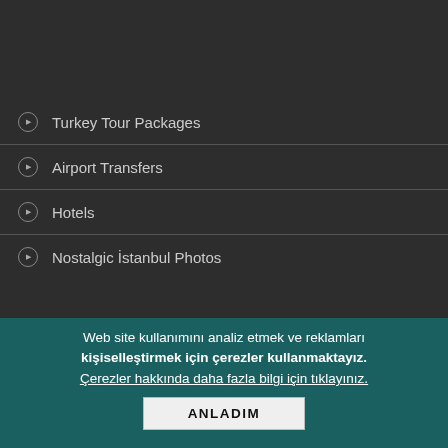Turkey Tour Packages
Airport Transfers
Hotels
Nostalgic İstanbul Photos
Web site kullanımını analiz etmek ve reklamları kişiselleştirmek için çerezler kullanmaktayız.
Çerezler hakkında daha fazla bilgi için tıklayınız.
Copyright | adresgezgini | About Us | Terms | Leave a message
ANLADIM